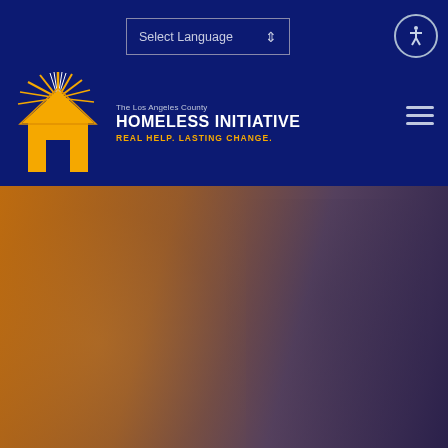[Figure (screenshot): Navigation bar with Select Language dropdown and accessibility icon on dark navy background]
[Figure (logo): The Los Angeles County Homeless Initiative logo — house icon with sunburst rays, text: The Los Angeles County HOMELESS INITIATIVE REAL HELP. LASTING CHANGE.]
[Figure (photo): Hero photo of outreach worker (wearing mask) assisting an older person, overlaid with orange-to-dark-blue gradient tint]